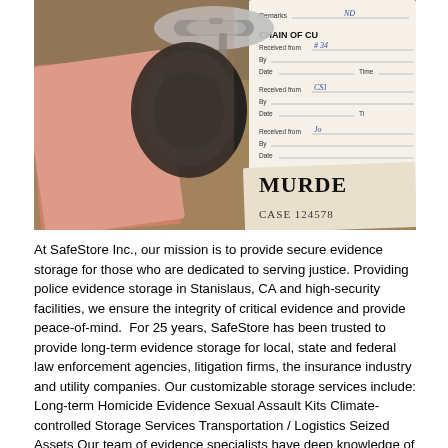[Figure (photo): A close-up photograph of a car key, a black leather key fob, and evidence bags/labels on a brown surface. One label reads 'MURDER CASE 124578' and another shows a 'CHAIN OF CUSTODY' form with handwritten entries. A pink/salmon colored card is partially visible.]
At SafeStore Inc., our mission is to provide secure evidence storage for those who are dedicated to serving justice. Providing police evidence storage in Stanislaus, CA and high-security facilities, we ensure the integrity of critical evidence and provide peace-of-mind.  For 25 years, SafeStore has been trusted to provide long-term evidence storage for local, state and federal law enforcement agencies, litigation firms, the insurance industry and utility companies. Our customizable storage services include: Long-term Homicide Evidence Sexual Assault Kits Climate-controlled Storage Services Transportation / Logistics Seized Assets Our team of evidence specialists have deep knowledge of the Commission on Accreditation for Law Enforcement Agencies, Inc. (CALEA) standards and National Institutes of Standards and Technology (NIST) guidance on evidence storage and preservation. Our staff has